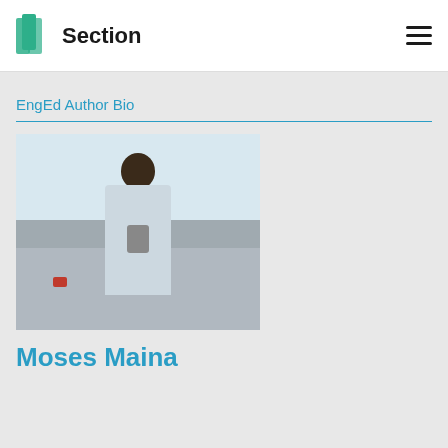Section
EngEd Author Bio
[Figure (photo): Young man standing outdoors wearing a light blue t-shirt, with a coastal or waterfront background]
Moses Maina